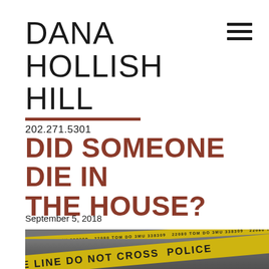DANA HOLLISH HILL
202.271.5301
DID SOMEONE DIE IN THE HOUSE?
September 5, 2018
[Figure (photo): Police crime scene tape that reads 'POLICE LINE DO NOT CROSS' in yellow tape, with pavement/road surface visible in the background.]